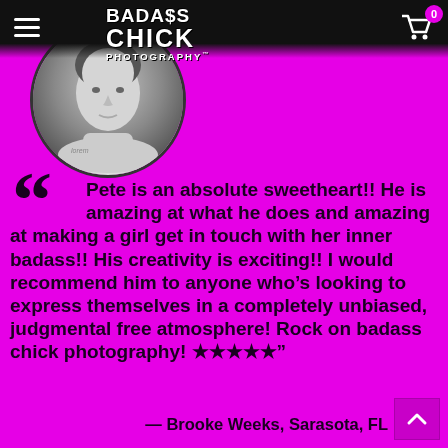Badass Chick Photography — navigation header with hamburger menu, logo, and cart icon
[Figure (photo): Black and white circular portrait photo of a woman with short hair resting her chin on her hands, with a tattoo visible on her wrist]
“ Pete is an absolute sweetheart!! He is amazing at what he does and amazing at making a girl get in touch with her inner badass!! His creativity is exciting!! I would recommend him to anyone who’s looking to express themselves in a completely unbiased, judgmental free atmosphere! Rock on badass chick photography! ★★★★★”
— Brooke Weeks, Sarasota, FL